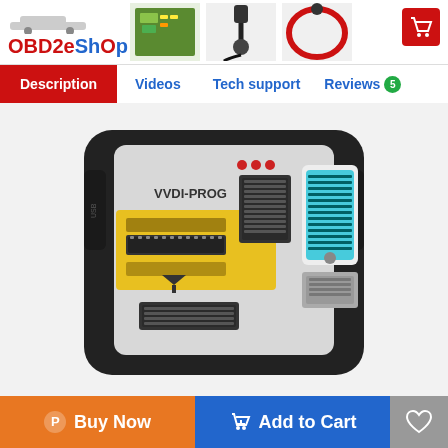[Figure (logo): OBD2eShOp logo with car icon, red and blue lettering]
[Figure (photo): Thumbnail images of automotive diagnostic tools/cables at top of page]
Description | Videos | Tech support | Reviews 5
[Figure (photo): VVDI-PROG automotive programmer device - black casing with yellow/grey face panel, multiple connectors and ZIF socket]
Buy Now
Add to Cart